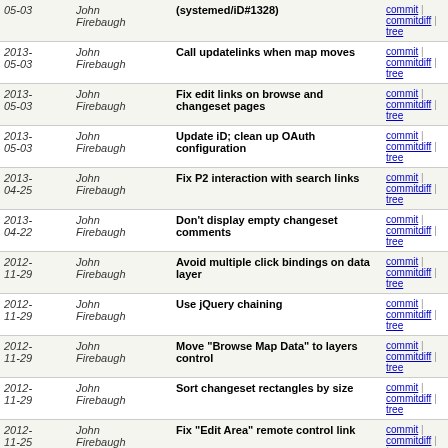| Date | Author | Message | Links |
| --- | --- | --- | --- |
| 05-03 | John Firebaugh | (systemed/iD#1328) | commit | commitdiff | tree |
| 2013-05-03 | John Firebaugh | Call updatelinks when map moves | commit | commitdiff | tree |
| 2013-05-03 | John Firebaugh | Fix edit links on browse and changeset pages | commit | commitdiff | tree |
| 2013-05-03 | John Firebaugh | Update iD; clean up OAuth configuration | commit | commitdiff | tree |
| 2013-04-25 | John Firebaugh | Fix P2 interaction with search links | commit | commitdiff | tree |
| 2013-04-22 | John Firebaugh | Don't display empty changeset comments | commit | commitdiff | tree |
| 2012-11-29 | John Firebaugh | Avoid multiple click bindings on data layer | commit | commitdiff | tree |
| 2012-11-29 | John Firebaugh | Use jQuery chaining | commit | commitdiff | tree |
| 2012-11-29 | John Firebaugh | Move "Browse Map Data" to layers control | commit | commitdiff | tree |
| 2012-11-29 | John Firebaugh | Sort changeset rectangles by size | commit | commitdiff | tree |
| 2012-11-25 | John Firebaugh | Fix "Edit Area" remote control link | commit | commitdiff | tree |
| 2012-11-10 | John Firebaugh | Update Leaflet | commit | commitdiff | tree |
| 2012-11-09 | John Firebaugh | Move popup anchor definition to icon | commit | commitdiff | tree |
| 2012-11-09 | John Firebaugh | Use nicer markers | commit | commitdiff | tree |